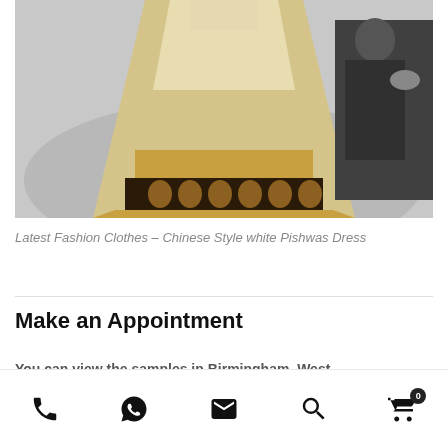[Figure (photo): Fashion runway photo showing a model wearing an ornate white and gold Chinese-style Pishwas dress with dark paisley embroidery hem, audience visible in background]
Latest Fashion Clothes – Chinese Style white Pishwas Dress
Make an Appointment
You can view the samples in Birmingham, West
Phone | WhatsApp | Email | Search | Cart (0)